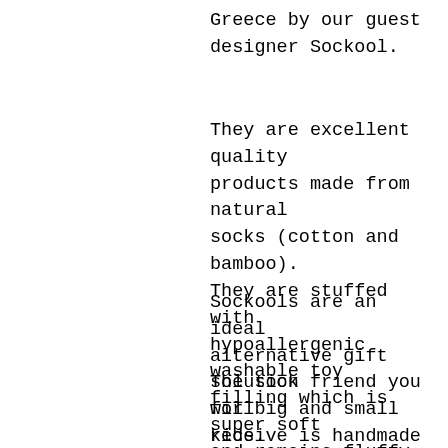Greece by our guest designer Sockool.
They are excellent quality products made from natural socks (cotton and bamboo). They are stuffed with hypoallergenic washable toy filling which is super soft and remains fluffy.
Sockools are an ideal alternative gift solution for big and small kids.
The sock friend you will receive is handmade and unique, so please expect slight alterations form the